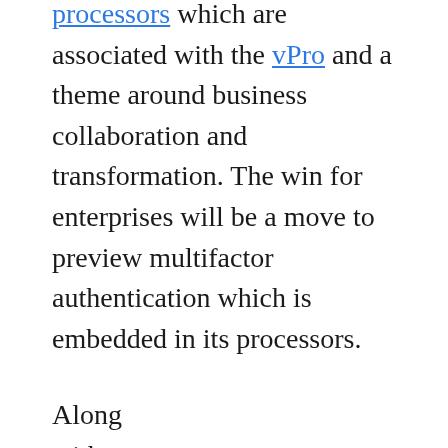processors which are associated with the vPro and a theme around business collaboration and transformation. The win for enterprises will be a move to preview multifactor authentication which is embedded in its processors.
Along with Windows 10, the chip giant's Core proce